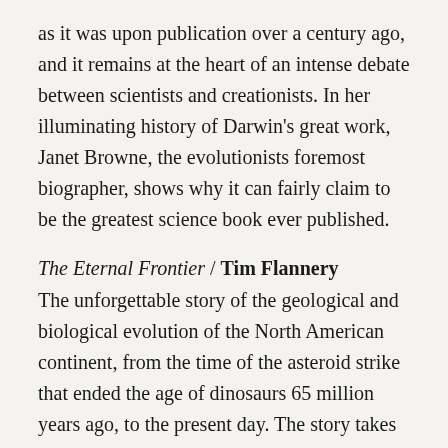as it was upon publication over a century ago, and it remains at the heart of an intense debate between scientists and creationists. In her illuminating history of Darwin's great work, Janet Browne, the evolutionists foremost biographer, shows why it can fairly claim to be the greatest science book ever published.
The Eternal Frontier / Tim Flannery
The unforgettable story of the geological and biological evolution of the North American continent, from the time of the asteroid strike that ended the age of dinosaurs 65 million years ago, to the present day. The story takes in the massive changes wrought by the ice ages and the coming of the Indians, and continues right up to the present, covering the deforestation of the Northeast, the decimation of the buffalo, and other